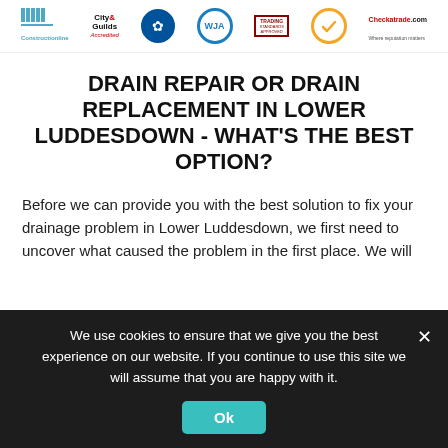[Figure (logo): Row of accreditation logos: Constructionline, City & Guilds Accredited, Gas Contractor Approved badge, WJA badge, Trading Standards Approved, TrustMark badge, Checkatrade.com]
DRAIN REPAIR OR DRAIN REPLACEMENT IN LOWER LUDDESDOWN - WHAT'S THE BEST OPTION?
Before we can provide you with the best solution to fix your drainage problem in Lower Luddesdown, we first need to uncover what caused the problem in the first place. We will
We use cookies to ensure that we give you the best experience on our website. If you continue to use this site we will assume that you are happy with it.